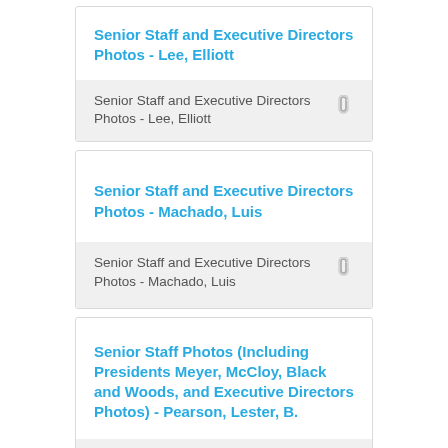Senior Staff and Executive Directors Photos - Lee, Elliott
Senior Staff and Executive Directors Photos - Lee, Elliott
Senior Staff and Executive Directors Photos - Machado, Luis
Senior Staff and Executive Directors Photos - Machado, Luis
Senior Staff Photos (Including Presidents Meyer, McCloy, Black and Woods, and Executive Directors Photos) - Pearson, Lester, B.
Senior Staff Photos...